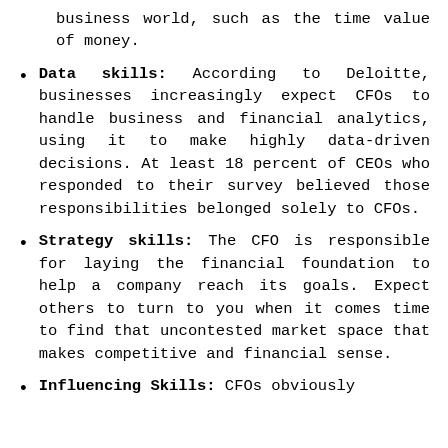business world, such as the time value of money.
Data skills: According to Deloitte, businesses increasingly expect CFOs to handle business and financial analytics, using it to make highly data-driven decisions. At least 18 percent of CEOs who responded to their survey believed those responsibilities belonged solely to CFOs.
Strategy skills: The CFO is responsible for laying the financial foundation to help a company reach its goals. Expect others to turn to you when it comes time to find that uncontested market space that makes competitive and financial sense.
Influencing Skills: CFOs obviously